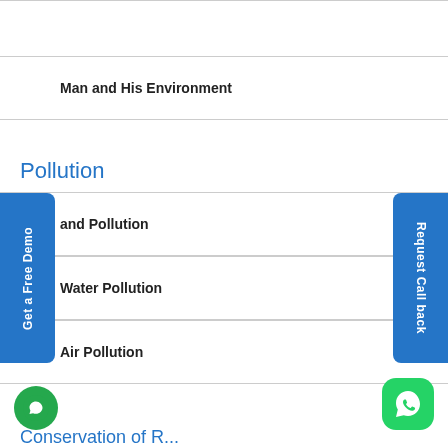Man and His Environment
Pollution
and Pollution
Water Pollution
Air Pollution
Conservation of R...